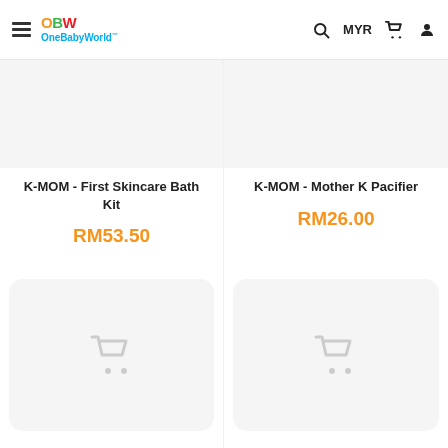OneBabyWorld — navigation header with hamburger menu, logo, search icon, MYR currency selector, cart icon, and user icon
K-MOM - First Skincare Bath Kit
RM53.50
K-MOM - Mother K Pacifier
RM26.00
[Figure (screenshot): Empty product image placeholder with light grey background for K-MOM First Skincare Bath Kit]
[Figure (screenshot): Empty product image placeholder with light grey background and cart icon for bottom-left product]
[Figure (screenshot): Empty product image placeholder with light grey background for K-MOM Mother K Pacifier]
[Figure (screenshot): Empty product image placeholder with light grey background and cart icon for bottom-right product]